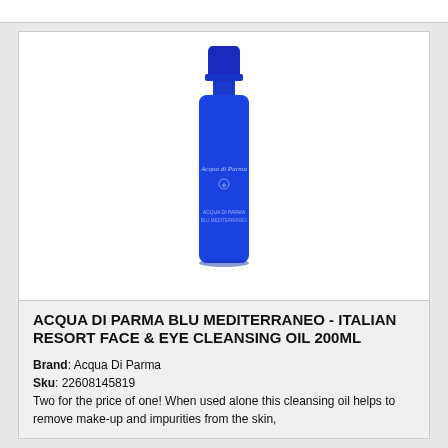[Figure (photo): A tall blue glass bottle of Acqua di Parma Blu Mediterraneo Italian Resort Face & Eye Cleansing Oil 200ml, with a blue cap. The bottle has white cursive text and a small logo on the front.]
ACQUA DI PARMA BLU MEDITERRANEO - ITALIAN RESORT FACE & EYE CLEANSING OIL 200ML
Brand: Acqua Di Parma
Sku: 22608145819
Two for the price of one! When used alone this cleansing oil helps to remove make-up and impurities from the skin,